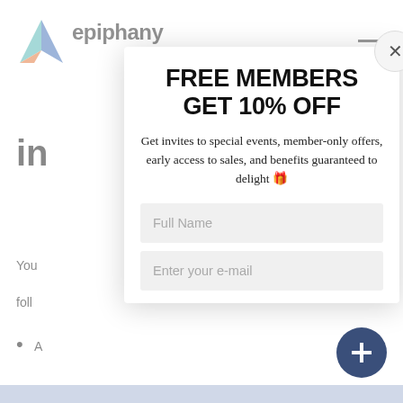[Figure (logo): Epiphany brand logo — stylized multicolor arrow/bird mark in blue, teal, and orange]
epiphany
in
[Figure (other): Hamburger menu icon (three horizontal lines) in top-right corner]
[Figure (screenshot): Modal popup overlay. Contains close button (X), title 'FREE MEMBERS GET 10% OFF', subtitle 'Get invites to special events, member-only offers, early access to sales, and benefits guaranteed to delight 🎁', a Full Name input field, and an Enter your e-mail input field]
FREE MEMBERS GET 10% OFF
Get invites to special events, member-only offers, early access to sales, and benefits guaranteed to delight 🎁